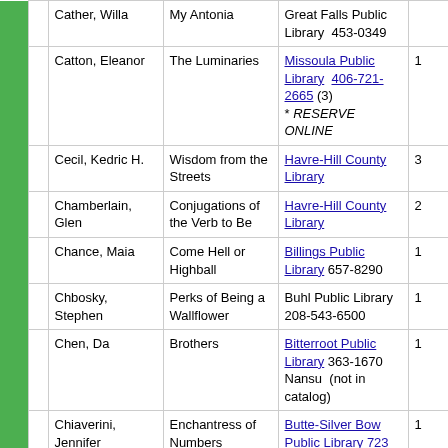|  |  | Author | Title | Library | # |
| --- | --- | --- | --- | --- | --- |
|  |  | Cather, Willa | My Antonia | Great Falls Public Library  453-0349 |  |
|  |  | Catton, Eleanor | The Luminaries | Missoula Public Library  406-721-2665 (3) * RESERVE ONLINE | 1 |
|  |  | Cecil, Kedric H. | Wisdom from the Streets | Havre-Hill County Library | 3 |
|  |  | Chamberlain, Glen | Conjugations of the Verb to Be | Havre-Hill County Library | 2 |
|  |  | Chance, Maia | Come Hell or Highball | Billings Public Library 657-8290 | 1 |
|  |  | Chbosky, Stephen | Perks of Being a Wallflower | Buhl Public Library 208-543-6500 | 1 |
|  |  | Chen, Da | Brothers | Bitterroot Public Library 363-1670 Nansu  (not in catalog) | 1 |
|  |  | Chiaverini, Jennifer | Enchantress of Numbers | Butte-Silver Bow Public Library 723 3361 | 1 |